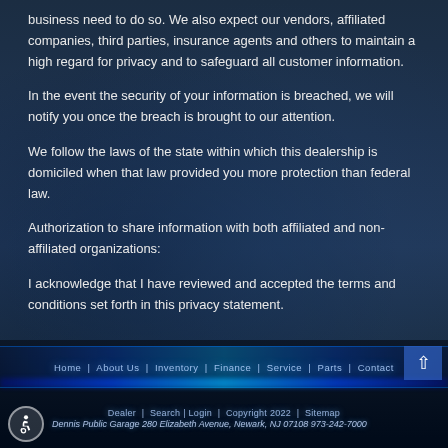business need to do so. We also expect our vendors, affiliated companies, third parties, insurance agents and others to maintain a high regard for privacy and to safeguard all customer information.
In the event the security of your information is breached, we will notify you once the breach is brought to our attention.
We follow the laws of the state within which this dealership is domiciled when that law provided you more protection than federal law.
Authorization to share information with both affiliated and non-affiliated organizations:
I acknowledge that I have reviewed and accepted the terms and conditions set forth in this privacy statement.
Dealer | Search | Login | Copyright 2022 | Sitemap
Dennis Public Garage 280 Elizabeth Avenue, Newark, NJ 07108 973-242-7000